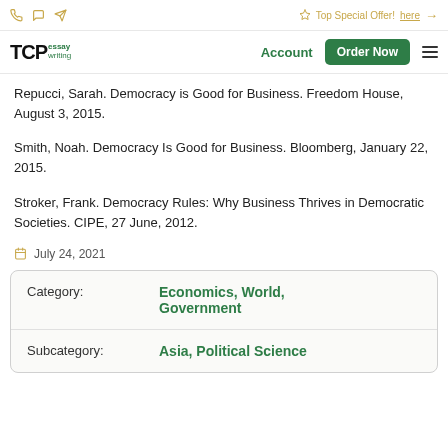TCP essay writing — Account — Order Now
Repucci, Sarah. Democracy is Good for Business. Freedom House, August 3, 2015.
Smith, Noah. Democracy Is Good for Business. Bloomberg, January 22, 2015.
Stroker, Frank. Democracy Rules: Why Business Thrives in Democratic Societies. CIPE, 27 June, 2012.
July 24, 2021
|  |  |
| --- | --- |
| Category: | Economics, World, Government |
| Subcategory: | Asia, Political Science |